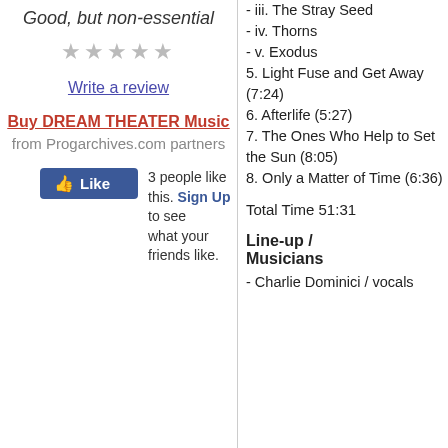Good, but non-essential
[Figure (other): Five empty star rating symbols]
Write a review
Buy DREAM THEATER Music
from Progarchives.com partners
[Figure (other): Facebook Like button with text: 3 people like this. Sign Up to see what your friends like.]
- iii. The Stray Seed
- iv. Thorns
- v. Exodus
5. Light Fuse and Get Away (7:24)
6. Afterlife (5:27)
7. The Ones Who Help to Set the Sun (8:05)
8. Only a Matter of Time (6:36)
Total Time 51:31
Line-up / Musicians
- Charlie Dominici / vocals